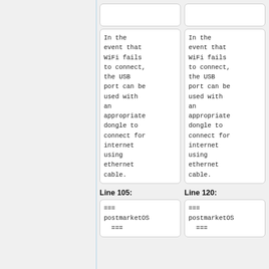In the event that WiFi fails to connect, the USB port can be used with an appropriate dongle to connect for internet using ethernet cable.
In the event that WiFi fails to connect, the USB port can be used with an appropriate dongle to connect for internet using ethernet cable.
Line 105:
Line 120:
=== postmarketOS ===
=== postmarketOS ===